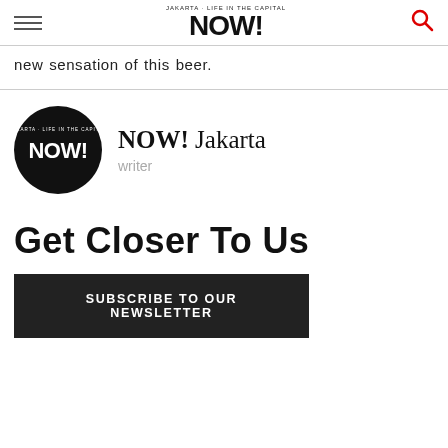NOW! Jakarta
new sensation of this beer.
[Figure (logo): NOW! Jakarta circular black logo with white NOW! text]
NOW! Jakarta
writer
Get Closer To Us
SUBSCRIBE TO OUR NEWSLETTER